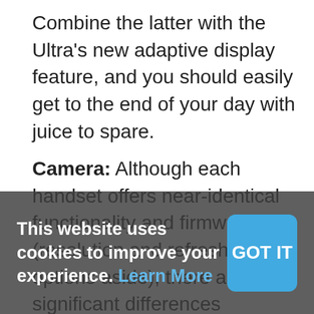Combine the latter with the Ultra's new adaptive display feature, and you should easily get to the end of your day with juice to spare.
Camera: Although each handset offers near-identical functionality and firmware (resolution and refresh rate options aside), there are some significant differences between the two phones, particularly when it comes to their cameras.
For starters, the Note 20 Ultra predictably receives the lion's share of camera advancements this year, including a 108MP primary sensor, and a periscope lens that's capable of 50x hybrid zoom. Meanwhile, the standard Note 20 offers a 12MP wide lens, a 64MP telephoto lens and a 12MP ultrawide lens, along with hybrid zoom up to 30x.
This website uses cookies to improve your experience. Learn More